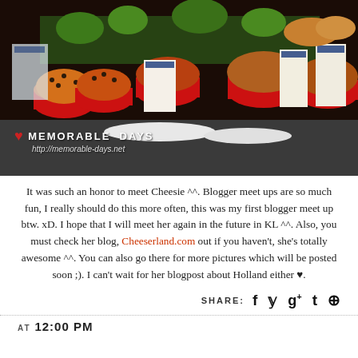[Figure (photo): Photo of muffins and baked goods in red paper cups displayed on a bakery counter, with Dutch stroopwafel packages visible. Watermark shows 'MEMORABLE DAYS http://memorable-days.net' in bottom left corner.]
It was such an honor to meet Cheesie ^^. Blogger meet ups are so much fun, I really should do this more often, this was my first blogger meet up btw. xD. I hope that I will meet her again in the future in KL ^^. Also, you must check her blog, Cheeserland.com out if you haven't, she's totally awesome ^^. You can also go there for more pictures which will be posted soon ;). I can't wait for her blogpost about Holland either ♥.
SHARE: f 𝕪 g+ t ⊕
AT 12:00 PM